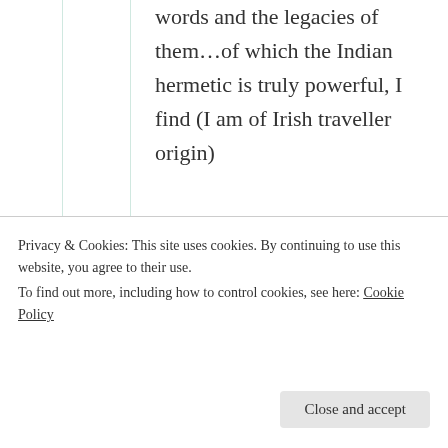words and the legacies of them…of which the Indian hermetic is truly powerful, I find (I am of Irish traveller origin)
★ Liked by 1 person
Suma Reddy
25th Aug 2021 at
Privacy & Cookies: This site uses cookies. By continuing to use this website, you agree to their use.
To find out more, including how to control cookies, see here: Cookie Policy
Close and accept
that about India 🏵 I...